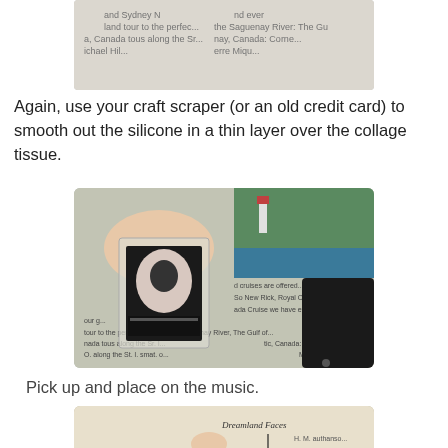[Figure (photo): Top partial photo showing travel brochure/magazine pages with text about Saguenay River, Canada, partially cropped from previous step.]
Again, use your craft scraper (or an old credit card) to smooth out the silicone in a thin layer over the collage tissue.
[Figure (photo): Hand holding a small transparent/silicone-coated collage tile with black cameo image, placed over a travel brochure background with a black credit card visible on the right.]
Pick up and place on the music.
[Figure (photo): Hand placing the collage tile (silhouette cameo on black background) onto sheet music pages reading 'Dreamland Faces'.]